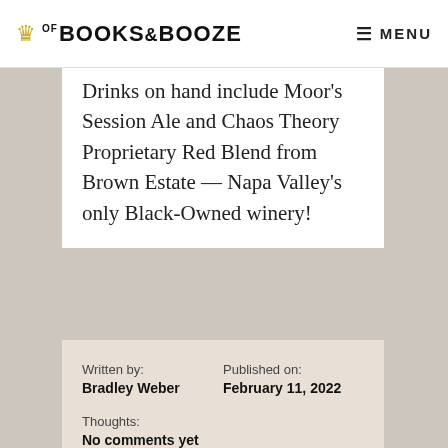OF BOOKS & BOOZE  ≡ MENU
Drinks on hand include Moor's Session Ale and Chaos Theory Proprietary Red Blend from Brown Estate — Napa Valley's only Black-Owned winery!
Written by: Bradley Weber  Published on: February 11, 2022
Thoughts: No comments yet